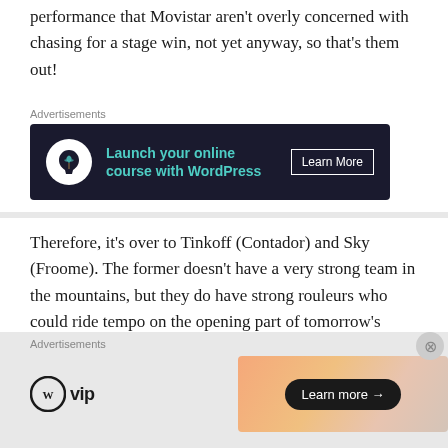performance that Movistar aren't overly concerned with chasing for a stage win, not yet anyway, so that's them out!
[Figure (other): Advertisement banner: dark navy background with bonsai tree icon, teal text 'Launch your online course with WordPress', and 'Learn More' button]
Therefore, it's over to Tinkoff (Contador) and Sky (Froome). The former doesn't have a very strong team in the mountains, but they do have strong rouleurs who could ride tempo on the opening part of tomorrow's stage. Froome looked a bit tired at the end of stage 8 but looked OK today. Then again, there wasn't much of a pace from the GC teams up the final
[Figure (other): Bottom advertisement bar with WP VIP logo and a gradient image banner with 'Learn more' button]